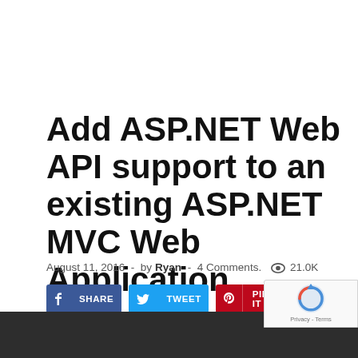Add ASP.NET Web API support to an existing ASP.NET MVC Web Application
August 11, 2016  -  by Ryan  -  4 Comments.   21.0K
[Figure (infographic): Row of social share buttons: Facebook SHARE (blue), Twitter TWEET (light blue), Pinterest PIN IT (red), LinkedIn SHARE (dark blue)]
[Figure (other): Dark charcoal/black horizontal bar at bottom of page, partial view]